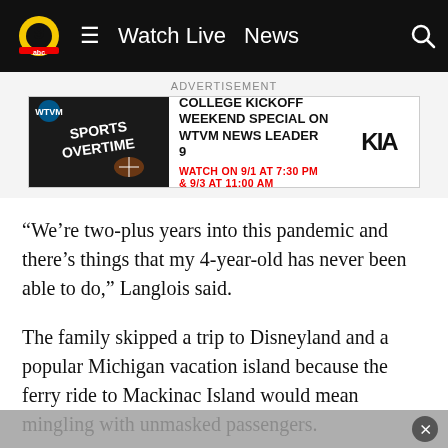Watch Live  News
ADVERTISEMENT
[Figure (screenshot): Advertisement banner for WTVM Sports Overtime College Kickoff Weekend Special with Kia logo]
“We’re two-plus years into this pandemic and there’s things that my 4-year-old has never been able to do,” Langlois said.
The family skipped a trip to Disneyland and a popular Michigan vacation island because the ferry ride to Mackinac Island would mean mingling with unmasked passengers.
President Joe Biden, public health authorities and pediatricians hailed the moment. But they also acknowledged that getting some parents on board may be a challenge given disappointing vaccination rates — about